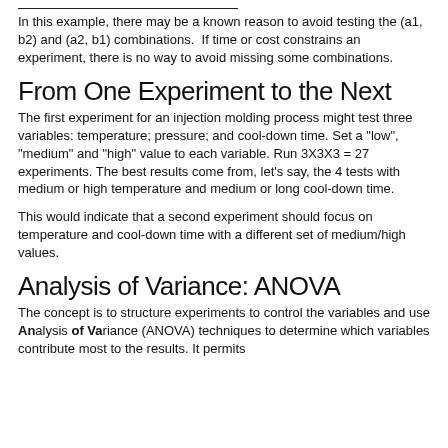In this example, there may be a known reason to avoid testing the (a1, b2) and (a2, b1) combinations.  If time or cost constrains an experiment, there is no way to avoid missing some combinations.
From One Experiment to the Next
The first experiment for an injection molding process might test three variables: temperature; pressure; and cool-down time. Set a "low", "medium" and "high" value to each variable. Run 3X3X3 = 27 experiments. The best results come from, let's say, the 4 tests with medium or high temperature and medium or long cool-down time.
This would indicate that a second experiment should focus on temperature and cool-down time with a different set of medium/high values.
Analysis of Variance: ANOVA
The concept is to structure experiments to control the variables and use Analysis of Variance (ANOVA) techniques to determine which variables contribute most to the results. It permits